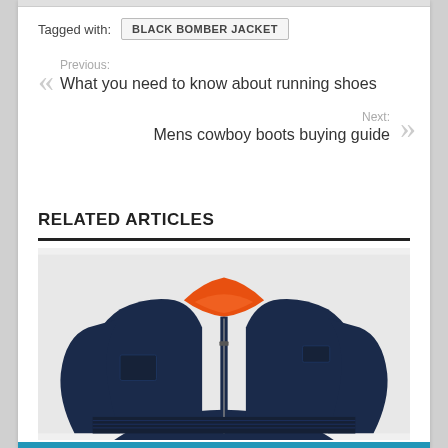Tagged with: BLACK BOMBER JACKET
Previous: What you need to know about running shoes
Next: Mens cowboy boots buying guide
RELATED ARTICLES
[Figure (photo): A navy blue bomber jacket with orange lining, partially unzipped, shown from the front torso up]